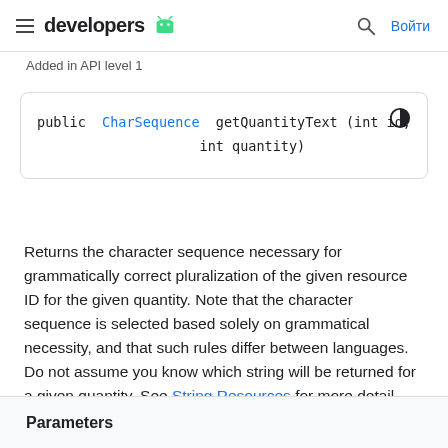developers  Войти
Added in API level 1
public CharSequence getQuantityText (int id,
                    int quantity)
Returns the character sequence necessary for grammatically correct pluralization of the given resource ID for the given quantity. Note that the character sequence is selected based solely on grammatical necessity, and that such rules differ between languages. Do not assume you know which string will be returned for a given quantity. See String Resources for more detail.
Parameters